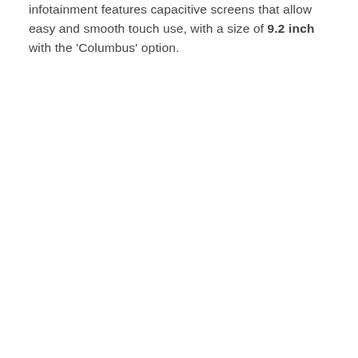infotainment features capacitive screens that allow easy and smooth touch use, with a size of 9.2 inch with the 'Columbus' option.